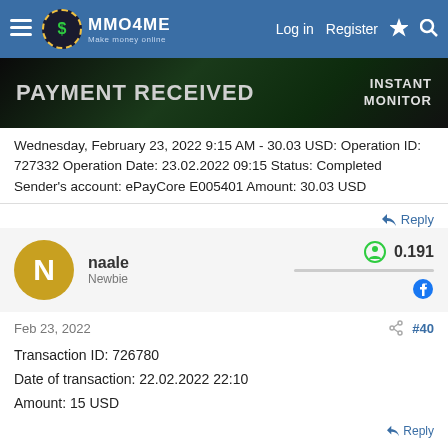MMO4ME - Log in  Register
[Figure (screenshot): Dark green banner image with text PAYMENT RECEIVED on the left and INSTANT MONITOR on the right]
Wednesday, February 23, 2022 9:15 AM - 30.03 USD: Operation ID: 727332 Operation Date: 23.02.2022 09:15 Status: Completed Sender's account: ePayCore E005401 Amount: 30.03 USD
Reply
naale
Newbie
0.191
Feb 23, 2022
#40
Transaction ID: 726780
Date of transaction: 22.02.2022 22:10
Amount: 15 USD
Reply